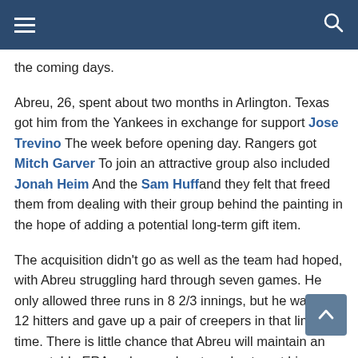Navigation bar with hamburger menu and search icon
the coming days.
Abreu, 26, spent about two months in Arlington. Texas got him from the Yankees in exchange for support Jose Trevino The week before opening day. Rangers got Mitch Garver To join an attractive group also included Jonah Heim And the Sam Huffand they felt that freed them from dealing with their group behind the painting in the hope of adding a potential long-term gift item.
The acquisition didn't go as well as the team had hoped, with Abreu struggling hard through seven games. He only allowed three runs in 8 2/3 innings, but he walked 12 hitters and gave up a pair of creepers in that limited time. There is little chance that Abreu will maintain an acceptable ERA as long as he struggles to get his passes that far, and Texas appointed him for the mission on Monday.
Throwing has been a problem for Abreu throughout his professional career, albeit not to the extent that it has been during his limited time as a Ranger. A respected prospect